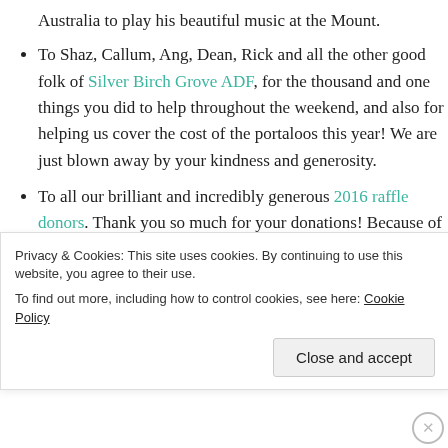Australia to play his beautiful music at the Mount.
To Shaz, Callum, Ang, Dean, Rick and all the other good folk of Silver Birch Grove ADF, for the thousand and one things you did to help throughout the weekend, and also for helping us cover the cost of the portaloos this year! We are just blown away by your kindness and generosity.
To all our brilliant and incredibly generous 2016 raffle donors. Thank you so much for your donations! Because of you, this year was our biggest raffle yet, helping cover costs and keep...
Privacy & Cookies: This site uses cookies. By continuing to use this website, you agree to their use.
To find out more, including how to control cookies, see here: Cookie Policy
Close and accept